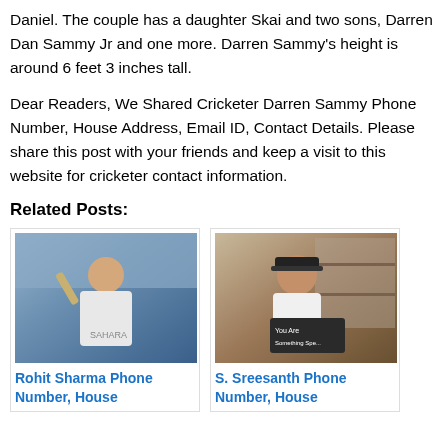Daniel. The couple has a daughter Skai and two sons, Darren Dan Sammy Jr and one more. Darren Sammy's height is around 6 feet 3 inches tall.
Dear Readers, We Shared Cricketer Darren Sammy Phone Number, House Address, Email ID, Contact Details. Please share this post with your friends and keep a visit to this website for cricketer contact information.
Related Posts:
[Figure (photo): Photo of Rohit Sharma, Indian cricketer, celebrating with bat raised, wearing India Test whites and Sahara sponsor jersey, crowd in background]
Rohit Sharma Phone Number, House
[Figure (photo): Photo of S. Sreesanth, Indian cricketer, wearing a cap and white t-shirt, holding a sign that reads 'You Are Something Special', indoors]
S. Sreesanth Phone Number, House